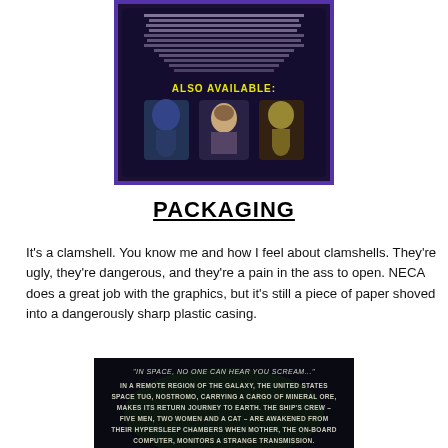[Figure (photo): Back of a blister/clamshell package with dark purple/blue background showing alien figures and 'ALSO AVAILABLE' text with small figurine images]
PACKAGING
It's a clamshell. You know me and how I feel about clamshells. They're ugly, they're dangerous, and they're a pain in the ass to open. NECA does a great job with the graphics, but it's still a piece of paper shoved into a dangerously sharp plastic casing.
[Figure (photo): Close-up of packaging text reading 'IN SPACE, NO ONE CAN HEAR YOU SCREAM...' followed by plot description of Alien movie on dark background]